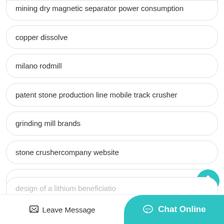mining dry magnetic separator power consumption
copper dissolve
milano rodmill
patent stone production line mobile track crusher
grinding mill brands
stone crushercompany website
Uttar Pradesh for sale stone crusher
design of a lithium beneficiatio…
Leave Message
Chat Online